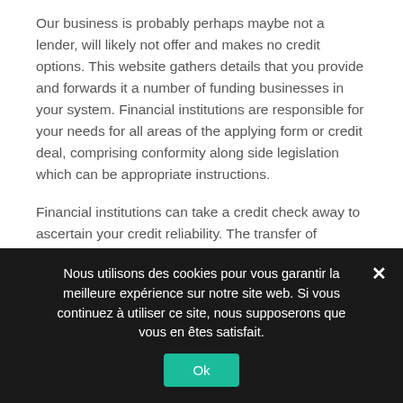Our business is probably perhaps maybe not a lender, will likely not offer and makes no credit options. This website gathers details that you provide and forwards it a number of funding businesses in your system. Financial institutions are responsible for your needs for all areas of the applying form or credit deal, comprising conformity along side legislation which can be appropriate instructions.
Financial institutions can take a credit check away to ascertain your credit reliability. The transfer of particular information is totally voluntary and can maybe not make certain you will be connected to a
Nous utilisons des cookies pour vous garantir la meilleure expérience sur notre site web. Si vous continuez à utiliser ce site, nous supposerons que vous en êtes satisfait.
Ok